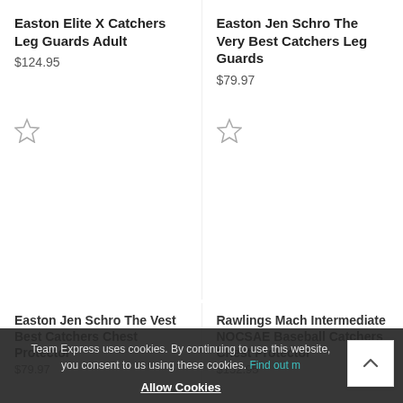Easton Elite X Catchers Leg Guards Adult
$124.95
Easton Jen Schro The Very Best Catchers Leg Guards
$79.97
[Figure (other): Star rating icon (empty star) for Easton Elite X Catchers Leg Guards Adult]
[Figure (other): Star rating icon (empty star) for Easton Jen Schro The Very Best Catchers Leg Guards]
Easton Jen Schro The Vest Best Catchers Chest Protector
$79.97
Rawlings Mach Intermediate NOCSAE Baseball Catchers Chest Protector
$152.95
Team Express uses cookies. By continuing to use this website, you consent to us using these cookies. Find out m… Allow Cookies